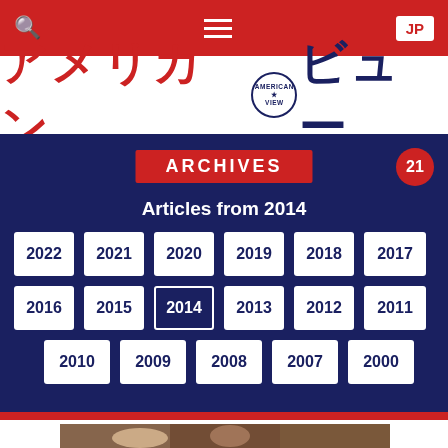Navigation bar with search, menu, and JP button
アメリカン☆ビュー (American View)
ARCHIVES
Articles from 2014
21
2022
2021
2020
2019
2018
2017
2016
2015
2014
2013
2012
2011
2010
2009
2008
2007
2000
[Figure (photo): Photo of two people (a woman and a man) in what appears to be an office or library setting]